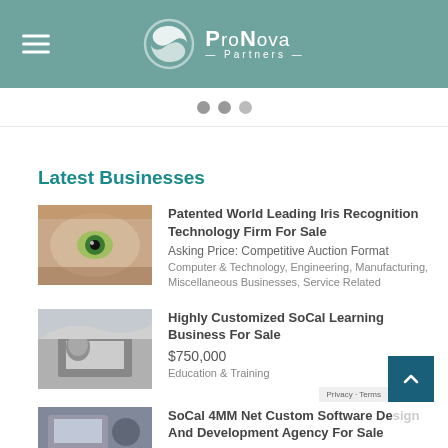ProNova Partners
Latest Businesses
Patented World Leading Iris Recognition Technology Firm For Sale
Asking Price: Competitive Auction Format
Computer & Technology, Engineering, Manufacturing, Miscellaneous Businesses, Service Related
Highly Customized SoCal Learning Business For Sale
$750,000
Education & Training
SoCal 4MM Net Custom Software Design And Development Agency For Sale